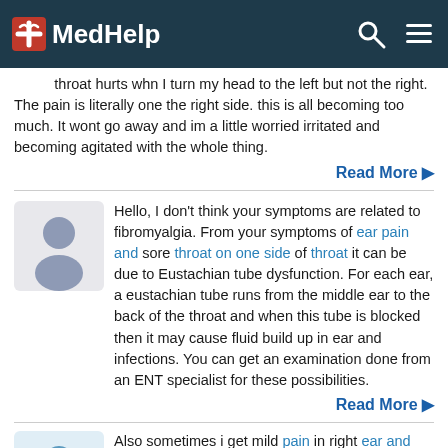MedHelp
throat hurts whn I turn my head to the left but not the right. The pain is literally one the right side. this is all becoming too much. It wont go away and im a little worried irritated and becoming agitated with the whole thing.
Read More
Hello, I don't think your symptoms are related to fibromyalgia. From your symptoms of ear pain and sore throat on one side of throat it can be due to Eustachian tube dysfunction. For each ear, a eustachian tube runs from the middle ear to the back of the throat and when this tube is blocked then it may cause fluid build up in ear and infections. You can get an examination done from an ENT specialist for these possibilities.
Read More
Also sometimes i get mild pain in right ear and weird jaw feelings after waking up when i sleep on the right side of my body. Do you think my wisdom tooth infection has spread or moved. Can an infection be present with such mild symptoms? 4 can a tooth ache cause node to swell?
Read More